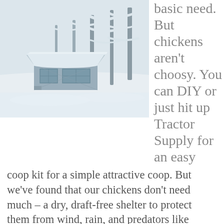[Figure (photo): A snowy winter scene with snow-covered trees and a small chicken coop or shed structure covered in deep snow in the foreground.]
basic need. But chickens aren't choosy. You can DIY or just hit up Tractor Supply for an easy coop kit for a simple attractive coop. But we've found that our chickens don't need much – a dry, draft-free shelter to protect them from wind, rain, and predators like raccoons and foxes. Most chickens prefer a roost, and you'll want an easily accessible nest box to collect your yummy eggs. You can make